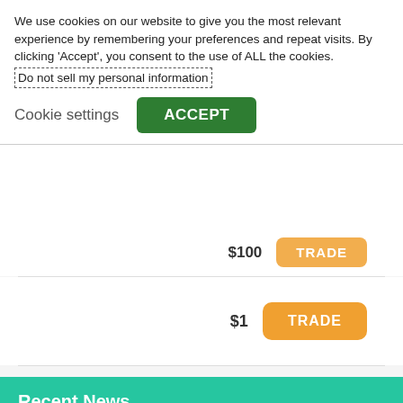We use cookies on our website to give you the most relevant experience by remembering your preferences and repeat visits. By clicking 'Accept', you consent to the use of ALL the cookies.
Do not sell my personal information
Cookie settings
ACCEPT
$100
TRADE
$1
TRADE
Recent News
Gold Adds to Losses on Stronger US Dollar, Investors Taking Profits
USD/CAD Rises to 1.3000 As Odds of Canada Slipping Into a Recession Are 'A Coin Flip'